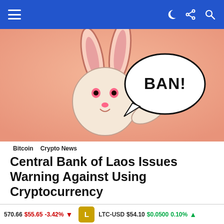Navigation bar with hamburger menu and icons
[Figure (illustration): Cartoon rabbit/character with speech bubble saying 'BAN!' on an orange/peach background]
Bitcoin   Crypto News
Central Bank of Laos Issues Warning Against Using Cryptocurrency
MORE FROM: BITCOIN
[Figure (photo): Dark promotional banner for Binance with snowflake decorations and 'Join the fastest growing' text, with a close button]
570.66 $55.65 -3.42% ▼   LTC-USD $54.10 $0.0500 0.10% ▲